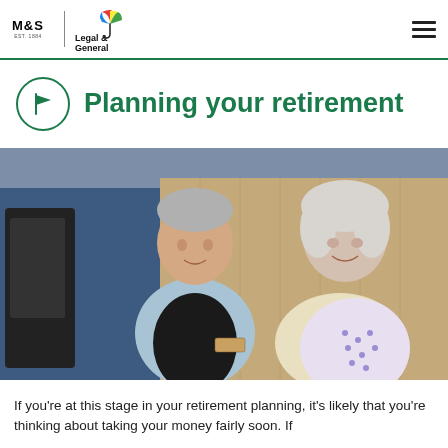M&S | Legal & General
Planning your retirement
[Figure (photo): An older couple wearing aprons, smiling and working together in what appears to be a café or kitchen setting. The man wears a black apron over a light blue shirt; the woman wears a patterned apron. The man is holding a food item.]
If you're at this stage in your retirement planning, it's likely that you're thinking about taking your money fairly soon. If